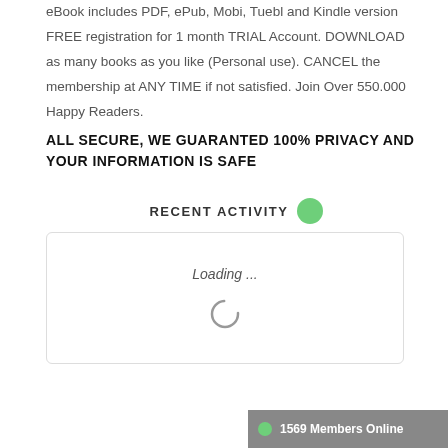eBook includes PDF, ePub, Mobi, Tuebl and Kindle version FREE registration for 1 month TRIAL Account. DOWNLOAD as many books as you like (Personal use). CANCEL the membership at ANY TIME if not satisfied. Join Over 550.000 Happy Readers.
ALL SECURE, WE GUARANTED 100% PRIVACY AND YOUR INFORMATION IS SAFE
RECENT ACTIVITY
[Figure (other): Loading spinner inside a bordered box with 'Loading ...' text]
1569 Members Online